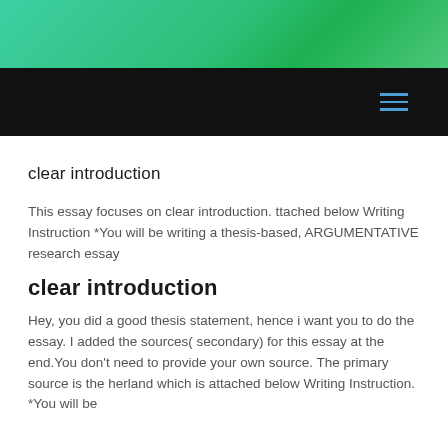[Figure (other): Green gradient header banner]
hamburger menu icon
clear introduction
This essay focuses on clear introduction. ttached below Writing Instruction *You will be writing a thesis-based, ARGUMENTATIVE research essay
clear introduction
Hey, you did a good thesis statement, hence i want you to do the essay. I added the sources( secondary) for this essay at the end.You don't need to provide your own source. The primary source is the herland which is attached below Writing Instruction. *You will be